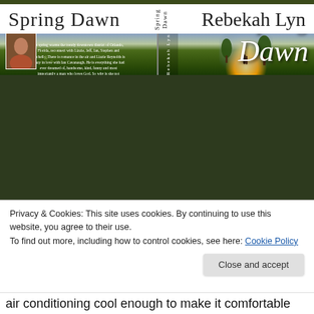[Figure (photo): Book cover for 'Spring Dawn' by Rebekah Lyn. Shows a spread with front cover (couple in a sunlit green field at dawn, large decorative title 'Spring Dawn' and author name), spine, and back cover (blurb text, author photo). White header bar shows 'Spring Dawn' on left and 'Rebekah Lyn' on right with spine text in between.]
Privacy & Cookies: This site uses cookies. By continuing to use this website, you agree to their use.
To find out more, including how to control cookies, see here: Cookie Policy
Close and accept
air conditioning cool enough to make it comfortable